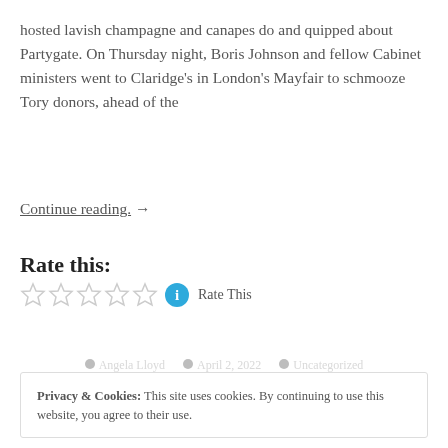hosted lavish champagne and canapes do and quipped about Partygate. On Thursday night, Boris Johnson and fellow Cabinet ministers went to Claridge's in London's Mayfair to schmooze Tory donors, ahead of the
Continue reading.  →
Rate this:
[Figure (other): Five empty star rating icons followed by an info icon and 'Rate This' text]
Angela Lloyd   April 2, 2022   Uncategorized
Privacy & Cookies: This site uses cookies. By continuing to use this website, you agree to their use.
To find out more, including how to control cookies, see here: Cookie Policy
Close and accept